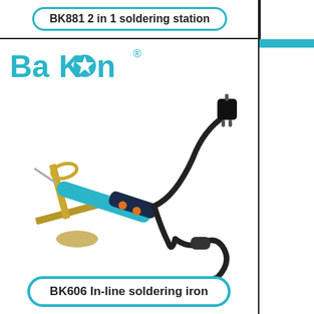BK881 2 in 1 soldering station
[Figure (logo): BaKon brand logo in teal/cyan color with star replacing letter 'o', registered trademark symbol]
[Figure (photo): BK606 In-line soldering iron shown resting on a metal stand holder. The iron has a teal/cyan body with orange buttons, a black cord leading to a power plug and an inline switch.]
BK606 In-line soldering iron